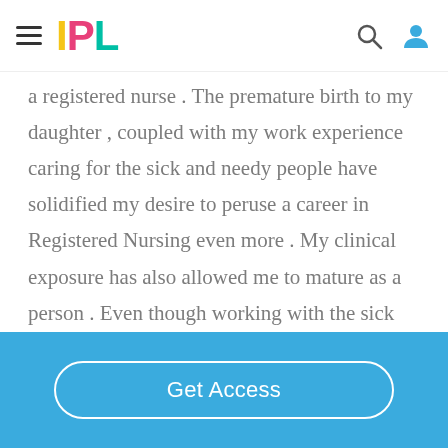IPL
a registered nurse . The premature birth to my daughter , coupled with my work experience caring for the sick and needy people have solidified my desire to peruse a career in Registered Nursing even more . My clinical exposure has also allowed me to mature as a person . Even though working with the sick can be challenging at times , it is infinitely
Get Access